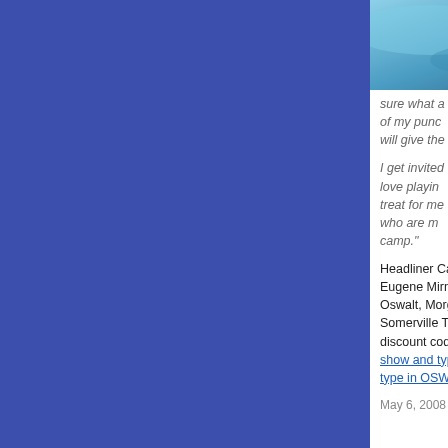[Figure (photo): Partial photo visible at top right of panel, appears to show blue/teal textured surface]
sure what a of my punc will give the
I get invited love playin treat for me who are m camp."
Headliner Camp! I Eugene Mirman, To Oswalt, Morgan Mu Somerville Theatre discount codes. Yo show and type in C type in OSWALT.
May 6, 2008 9:23:00